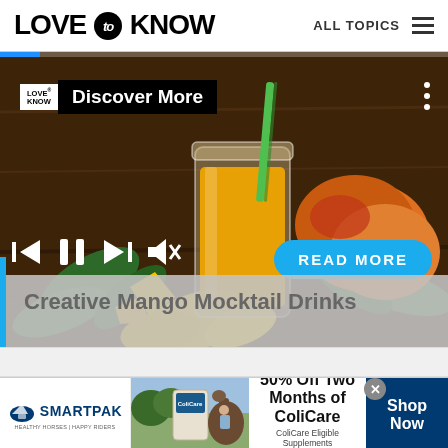LOVE to KNOW — ALL TOPICS
[Figure (screenshot): Video player showing mango mocktail drinks with a mason jar of orange juice, mangoes, and green leaves on a wooden table. Overlaid with LoveToKnow Discover More badge, media controls (previous, pause, next, mute), and a READ MORE button. Progress bar at top. Caption: Creative Mango Mocktail Drinks.]
Creative Mango Mocktail Drinks
[Figure (infographic): SmartPak advertisement banner: 50% Off Two Months of ColiCare. ColiCare Eligible Supplements CODE: COLICARE10. Shop Now button.]